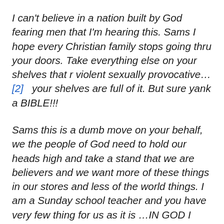I can't believe in a nation built by God fearing men that I'm hearing this. Sams I hope every Christian family stops going thru your doors. Take everything else on your shelves that r violent sexually provocative…[2]   your shelves are full of it. But sure yank a BIBLE!!!
Sams this is a dumb move on your behalf, we the people of God need to hold our heads high and take a stand that we are believers and we want more of these things in our stores and less of the world things. I am a Sunday school teacher and you have very few thing for us as it is …IN GOD I TRUST!!!!!!!!!!!!!!